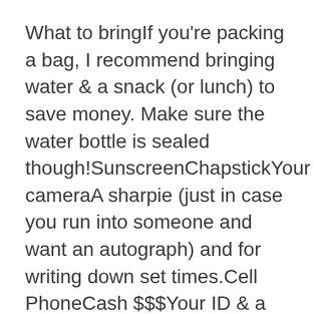What to bringIf you're packing a bag, I recommend bringing water & a snack (or lunch) to save money. Make sure the water bottle is sealed though!SunscreenChapstickYour cameraA sharpie (just in case you run into someone and want an autograph) and for writing down set times.Cell PhoneCash $$$Your ID & a debit card for backupIf it's going to be raining, consider a jacket or a poncho, maybe even an umbrella.Earplugs (optional)Hair tiesWrite down important cell phone numbers on a piece of paper or card and keep it in your wallet, just in case your phone dies.A few DO'sBe considerate of the people around you.Make new friends.Keep an eye out for signing times.Bring 3 canned food goods, a $5 donation or a used cell phone – donations are made to Feed Out Children Now — you can get in early with an Express Entry wristband.Bring a parent! They get in free!Check out